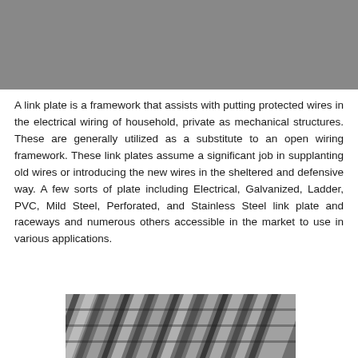[Figure (photo): Gray banner/image at the top of the page, likely a photo header that is mostly gray.]
A link plate is a framework that assists with putting protected wires in the electrical wiring of household, private as mechanical structures. These are generally utilized as a substitute to an open wiring framework. These link plates assume a significant job in supplanting old wires or introducing the new wires in the sheltered and defensive way. A few sorts of plate including Electrical, Galvanized, Ladder, PVC, Mild Steel, Perforated, and Stainless Steel link plate and raceways and numerous others accessible in the market to use in various applications.
[Figure (photo): Close-up black and white photograph of intertwined/braided metal wires or cables, showing the texture of steel wire rope or chain link.]